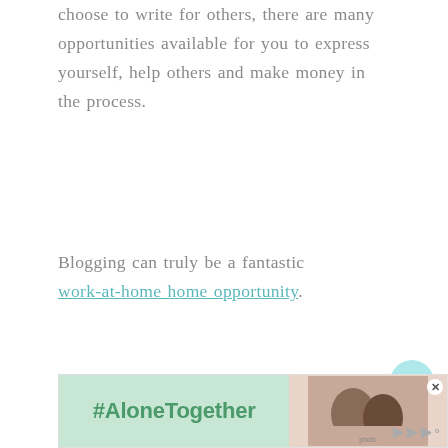choose to write for others, there are many opportunities available for you to express yourself, help others and make money in the process.
Blogging can truly be a fantastic work-at-home opportunity.
BLOGGING TOOLS AND RESOURCES
[Figure (other): Heart (save) button — circular teal/light-blue button with a heart icon]
[Figure (other): Share button — circular white button with share icon]
[Figure (other): What's Next widget showing a thumbnail image and text 'WHAT'S NEXT — Tips to Make Your Blog...']
[Figure (other): Advertisement banner with #AloneTogether text on green background and a photo of two people on right side, with close button and logo]